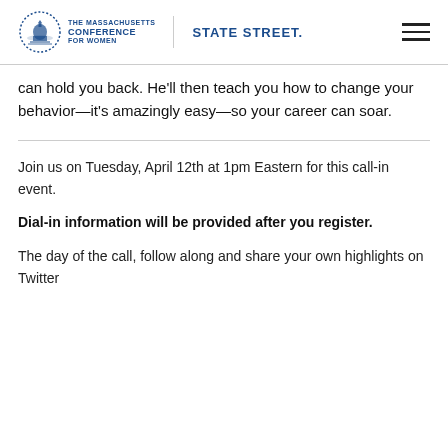The Massachusetts Conference for Women | STATE STREET.
can hold you back. He'll then teach you how to change your behavior—it's amazingly easy—so your career can soar.
Join us on Tuesday, April 12th at 1pm Eastern for this call-in event.
Dial-in information will be provided after you register.
The day of the call, follow along and share your own highlights on Twitter